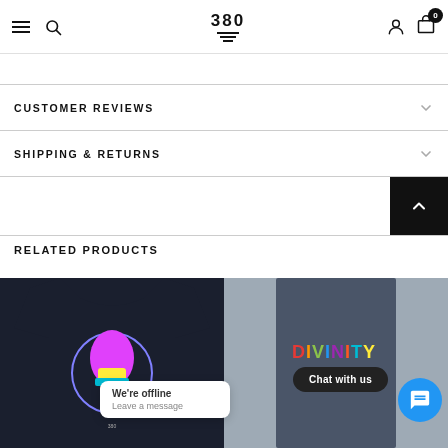380 — navigation header with hamburger menu, search, logo, user icon, and cart (0 items)
CUSTOMER REVIEWS
SHIPPING & RETURNS
RELATED PRODUCTS
[Figure (photo): Two product t-shirt photos side by side — left: dark tee with colorful graphic, right: dark wash tee with colorful text graphic. Chat widget overlay: 'We're offline / Leave a message' and 'Chat with us' button.]